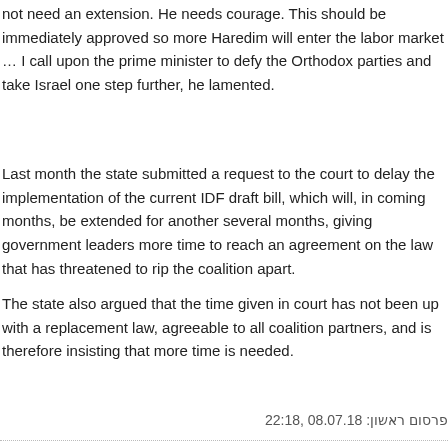not need an extension. He needs courage. This should be immediately approved so more Haredim will enter the labor market … I call upon the prime minister to defy the Orthodox parties and take Israel one step further, he lamented.
Last month the state submitted a request to the court to delay the implementation of the current IDF draft bill, which will, in coming months, be extended for another several months, giving government leaders more time to reach an agreement on the law that has threatened to rip the coalition apart.
The state also argued that the time given in court has not been up with a replacement law, agreeable to all coalition partners, and is therefore insisting that more time is needed.
פרסום ראשון: 08.07.18, 22:18
[Figure (photo): Photo of a person partially visible at the bottom of the page, appears to be outdoors against a stone or sandy background]